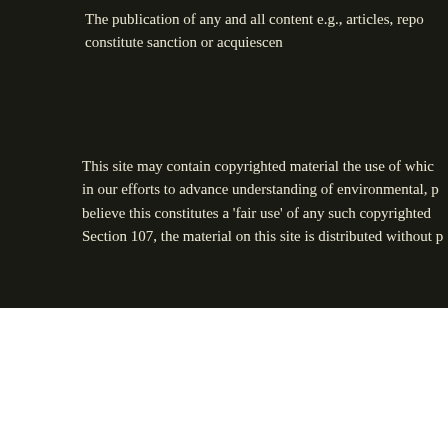The publication of any and all content e.g., articles, repo... constitute sanction or acquiescen...
This site may contain copyrighted material the use of which... in our efforts to advance understanding of environmental, p... believe this constitutes a 'fair use' of any such copyrighted... Section 107, the material on this site is distributed without p...
You understand that all Content posted on, transmitted thro... whom such Content originated. You are responsible for a... Phantoms and Monsters does not control, and is not r... Phantoms and Monsters Site, you acknowledge that you ...
NOTE: Any use of witness information, which includes any...